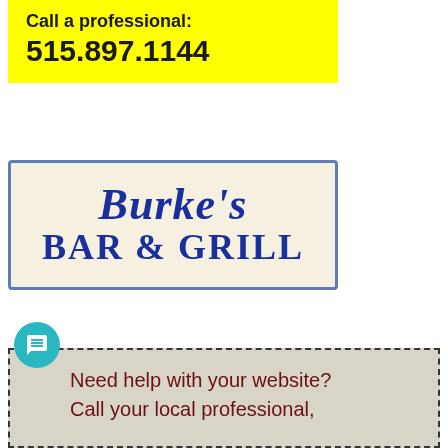Call a professional: 515.897.1144
[Figure (logo): Burke's Bar & Grill sign — cream/beige background with blue border and bold blue serif italic text reading Burke's BAR & GRILL]
Need help with your website? Call your local professional,